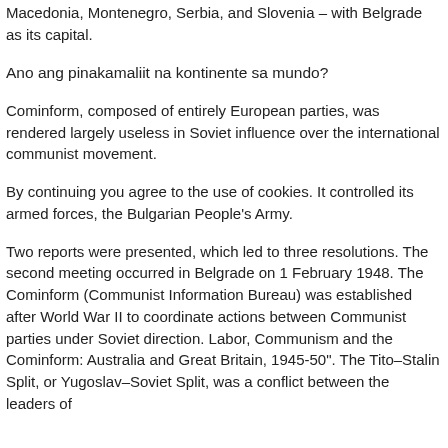Macedonia, Montenegro, Serbia, and Slovenia – with Belgrade as its capital.
Ano ang pinakamaliit na kontinente sa mundo?
Cominform, composed of entirely European parties, was rendered largely useless in Soviet influence over the international communist movement.
By continuing you agree to the use of cookies. It controlled its armed forces, the Bulgarian People's Army.
Two reports were presented, which led to three resolutions. The second meeting occurred in Belgrade on 1 February 1948. The Cominform (Communist Information Bureau) was established after World War II to coordinate actions between Communist parties under Soviet direction. Labor, Communism and the Cominform: Australia and Great Britain, 1945-50". The Tito–Stalin Split, or Yugoslav–Soviet Split, was a conflict between the leaders of